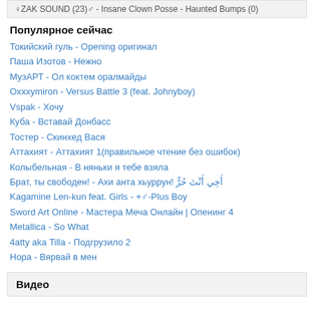♀ZAK SOUND (23)♂ - Insane Clown Posse - Haunted Bumps (0)
Популярное сейчас
Токийский гуль - Opening оригинал
Паша Изотов - Нежно
МузАРТ - Ол коктем оралмайды
Oxxxymiron - Versus Battle 3 (feat. Johnyboy)
Vspak - Хочу
Куба - Вставай Донбасс
Тостер - Скинхед Вася
Аттахият - Аттахият 1(правильное чтение без ошибок)
Колыбельная - В няньки я тебе взяла
Брат, ты свободен! - Ахи анта хьуррун! أَخِي أَنْتَ حُرٌّ
Kagamine Len-kun feat. Girls - +♂-Plus Boy
Sword Art Online - Мастера Меча Онлайн | Опенинг 4
Metallica - So What
4atty aka Tilla - Подгрузило 2
Нора - Вярвай в мен
Видео